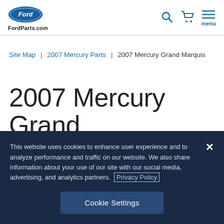[Figure (logo): Ford oval logo and FordParts.com header with search, cart, and menu icons]
Site Map | 2007 Mercury Parts | 2007 Mercury Grand Marquis
2007 Mercury Grand
This website uses cookies to enhance user experience and to analyze performance and traffic on our website. We also share information about your use of our site with our social media, advertising, and analytics partners. Privacy Policy
Cookie Settings